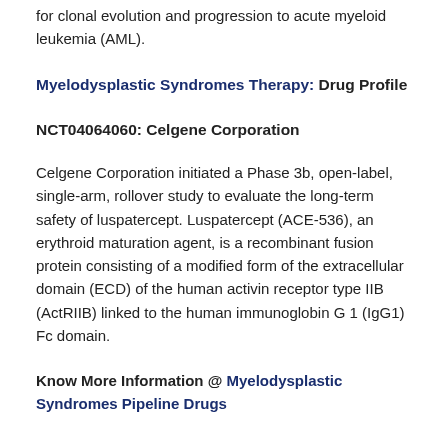for clonal evolution and progression to acute myeloid leukemia (AML).
Myelodysplastic Syndromes Therapy: Drug Profile
NCT04064060: Celgene Corporation
Celgene Corporation initiated a Phase 3b, open-label, single-arm, rollover study to evaluate the long-term safety of luspatercept. Luspatercept (ACE-536), an erythroid maturation agent, is a recombinant fusion protein consisting of a modified form of the extracellular domain (ECD) of the human activin receptor type IIB (ActRIIB) linked to the human immunoglobin G 1 (IgG1) Fc domain.
Know More Information @ Myelodysplastic Syndromes Pipeline Drugs